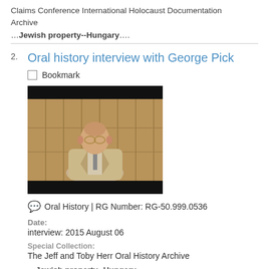Claims Conference International Holocaust Documentation Archive
…Jewish property--Hungary….
2. Oral history interview with George Pick
Bookmark
[Figure (photo): Video thumbnail showing an elderly man in a beige jacket and glasses, seated, with a wooden paneled background. The image has black bars at top and bottom.]
Oral History | RG Number: RG-50.999.0536
Date: interview: 2015 August 06
Special Collection: The Jeff and Toby Herr Oral History Archive
Jewish property--Hungary